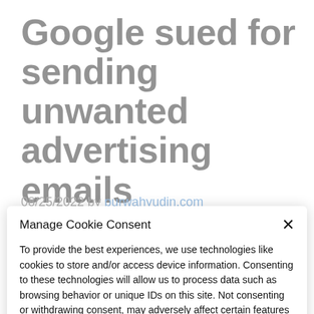Google sued for sending unwanted advertising emails
08/25/2022 by purwahyudin.com
Manage Cookie Consent
To provide the best experiences, we use technologies like cookies to store and/or access device information. Consenting to these technologies will allow us to process data such as browsing behavior or unique IDs on this site. Not consenting or withdrawing consent, may adversely affect certain features and functions.
Accept
Cookie Policy